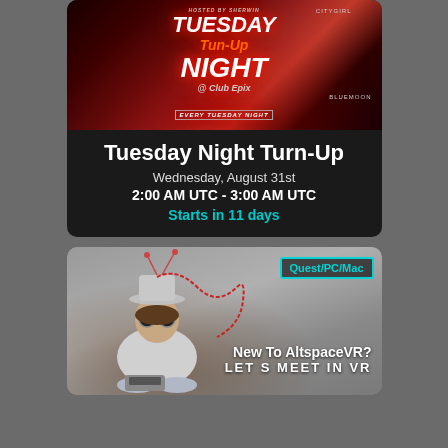[Figure (illustration): Event flyer for Tuesday Night Turn-Up at Club Epix, featuring VR avatars including hosts Sherwin, Citygirl, and Bluemoon on a red-lit party background. Text reads: TUESDAY Tun-Up NIGHT @ Club Epix, EVERY TUESDAY NIGHT AT 10PM EDT]
Tuesday Night Turn-Up
Wednesday, August 31st
2:00 AM UTC - 3:00 AM UTC
Starts in 11 days
[Figure (photo): Promotional image for AltspaceVR event showing a person with a futuristic hat with antennas, goggles, and wires, sitting cross-legged with a typewriter, on a brick floor against a grey wall. A badge reads Quest/PC/Mac. Text: New To AltspaceVR? LETS MEET IN VR]